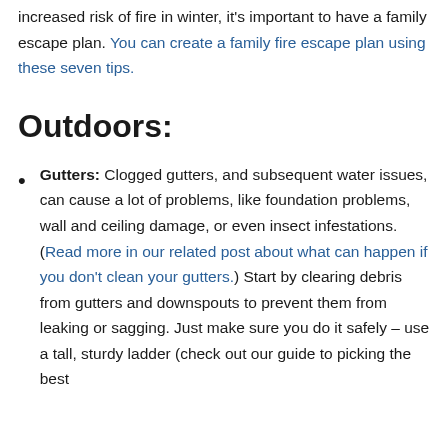increased risk of fire in winter, it's important to have a family escape plan. You can create a family fire escape plan using these seven tips.
Outdoors:
Gutters: Clogged gutters, and subsequent water issues, can cause a lot of problems, like foundation problems, wall and ceiling damage, or even insect infestations. (Read more in our related post about what can happen if you don't clean your gutters.) Start by clearing debris from gutters and downspouts to prevent them from leaking or sagging. Just make sure you do it safely – use a tall, sturdy ladder (check out our guide to picking the best